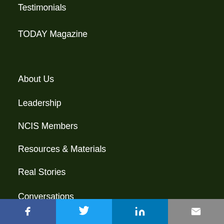Testimonials
TODAY Magazine
About Us
Leadership
NCIS Members
Resources & Materials
Real Stories
Conversations
Show Your Support
Contact Us
[Figure (other): Social media icon bar with Facebook, Twitter, LinkedIn, and Email buttons]